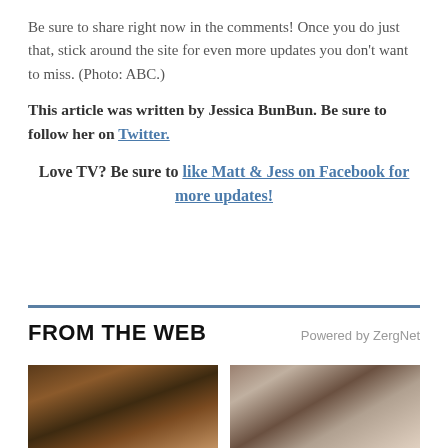Be sure to share right now in the comments! Once you do just that, stick around the site for even more updates you don't want to miss. (Photo: ABC.)
This article was written by Jessica BunBun. Be sure to follow her on Twitter.
Love TV? Be sure to like Matt & Jess on Facebook for more updates!
FROM THE WEB
Powered by ZergNet
[Figure (photo): Two photo thumbnails: left shows a man with long dark hair looking up, right shows a woman with dark hair pulled back]